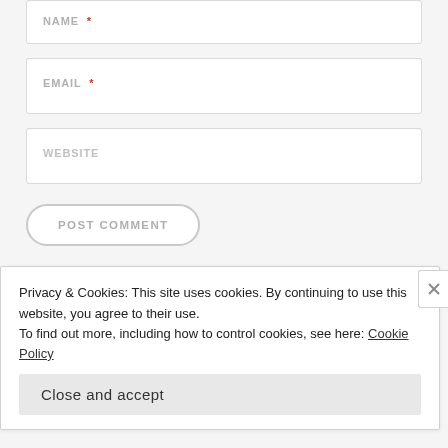[Figure (screenshot): Partial NAME input field at the top, cropped]
EMAIL *
WEBSITE
POST COMMENT
Notify me of new comments via email.
Notify me of new posts via email.
Privacy & Cookies: This site uses cookies. By continuing to use this website, you agree to their use. To find out more, including how to control cookies, see here: Cookie Policy
Close and accept